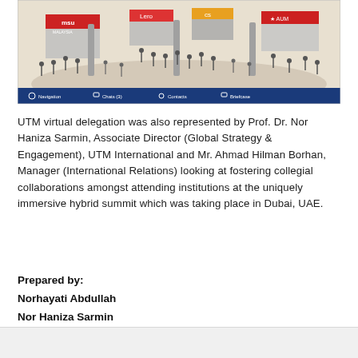[Figure (screenshot): Virtual conference hall screenshot showing multiple university booths (MSU, Lero, CS, AUM) in a 3D virtual environment with attendees. A blue navigation bar at the bottom shows icons for Navigation, Chats (3), Contacts, and Briefcase.]
UTM virtual delegation was also represented by Prof. Dr. Nor Haniza Sarmin, Associate Director (Global Strategy & Engagement), UTM International and Mr. Ahmad Hilman Borhan, Manager (International Relations) looking at fostering collegial collaborations amongst attending institutions at the uniquely immersive hybrid summit which was taking place in Dubai, UAE.
Prepared by:
Norhayati Abdullah
Nor Haniza Sarmin
Ahmad Hilman Borhan